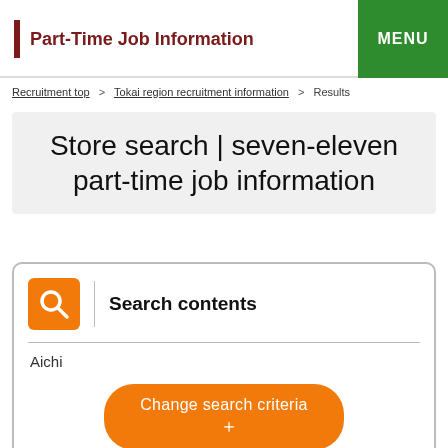Part-Time Job Information
Recruitment top > Tokai region recruitment information > Results
Store search | seven-eleven part-time job information
Search contents
Aichi
Change search criteria +